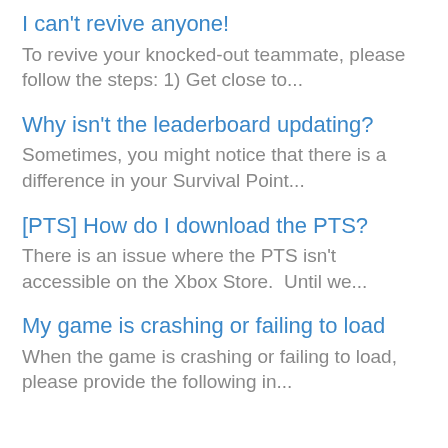I can't revive anyone!
To revive your knocked-out teammate, please follow the steps: 1) Get close to...
Why isn't the leaderboard updating?
Sometimes, you might notice that there is a difference in your Survival Point...
[PTS] How do I download the PTS?
There is an issue where the PTS isn't accessible on the Xbox Store.  Until we...
My game is crashing or failing to load
When the game is crashing or failing to load, please provide the following in...